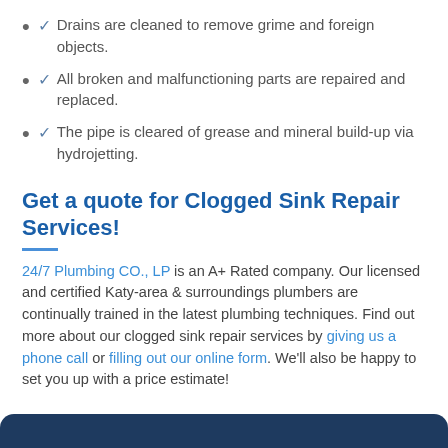✓ Drains are cleaned to remove grime and foreign objects.
✓ All broken and malfunctioning parts are repaired and replaced.
✓ The pipe is cleared of grease and mineral build-up via hydrojetting.
Get a quote for Clogged Sink Repair Services!
24/7 Plumbing CO., LP is an A+ Rated company. Our licensed and certified Katy-area & surroundings plumbers are continually trained in the latest plumbing techniques. Find out more about our clogged sink repair services by giving us a phone call or filling out our online form. We'll also be happy to set you up with a price estimate!